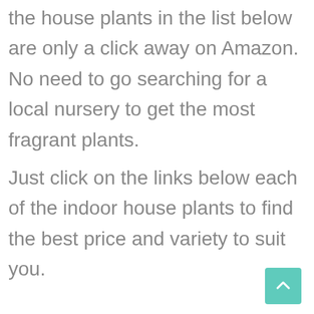the house plants in the list below are only a click away on Amazon. No need to go searching for a local nursery to get the most fragrant plants.
Just click on the links below each of the indoor house plants to find the best price and variety to suit you.